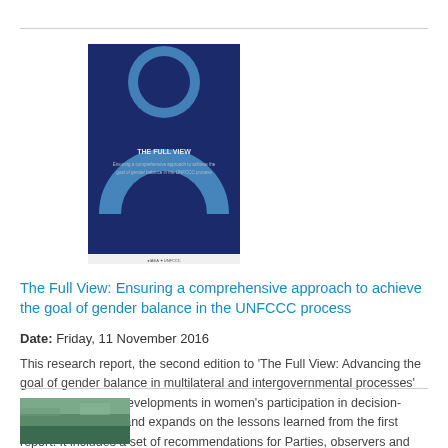[Figure (illustration): Book cover of 'The Full View' report showing blue circular design on dark navy background with IAEA logo at bottom]
The Full View: Ensuring a comprehensive approach to achieve the goal of gender balance in the UNFCCC process
Date: Friday, 11 November 2016
This research report, the second edition to 'The Full View: Advancing the goal of gender balance in multilateral and intergovernmental processes' (2013), examines developments in women's participation in decision-making processes and expands on the lessons learned from the first report. It includes a set of recommendations for Parties, observers and the secretariat to the UNFCCC on ways to advance the goal of gender balance to promote women's voice and agency.
[Figure (photo): Partial photo visible at bottom of page, appears to be a landscape or environmental image]